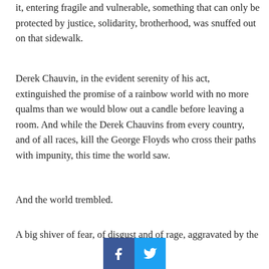it, entering fragile and vulnerable, something that can only be protected by justice, solidarity, brotherhood, was snuffed out on that sidewalk.
Derek Chauvin, in the evident serenity of his act, extinguished the promise of a rainbow world with no more qualms than we would blow out a candle before leaving a room. And while the Derek Chauvins from every country, and of all races, kill the George Floyds who cross their paths with impunity, this time the world saw.
And the world trembled.
A big shiver of fear, of disgust and of rage, aggravated by the
[Figure (other): Social sharing buttons: Facebook (blue with 'f' icon) and Twitter (light blue with bird icon)]